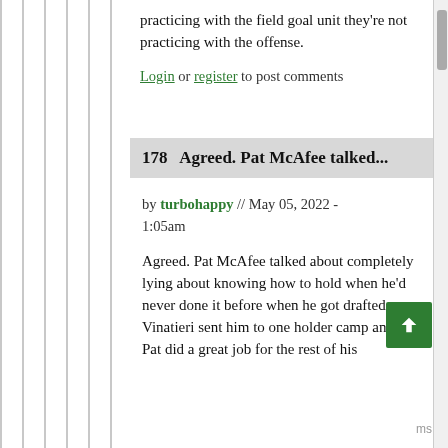practicing with the field goal unit they're not practicing with the offense.
Login or register to post comments
178  Agreed. Pat McAfee talked...
by turbohappy // May 05, 2022 - 1:05am
Agreed. Pat McAfee talked about completely lying about knowing how to hold when he'd never done it before when he got drafted, so Vinatieri sent him to one holder camp and then Pat did a great job for the rest of his